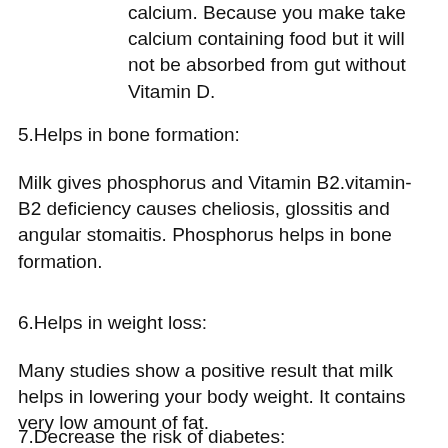calcium. Because you make take calcium containing food but it will not be absorbed from gut without Vitamin D.
5.Helps in bone formation:
Milk gives phosphorus and Vitamin B2.vitamin-B2 deficiency causes cheliosis, glossitis and angular stomaitis. Phosphorus helps in bone formation.
6.Helps in weight loss:
Many studies show a positive result that milk helps in lowering your body weight. It contains very low amount of fat.
7.Decrease the risk of diabetes: